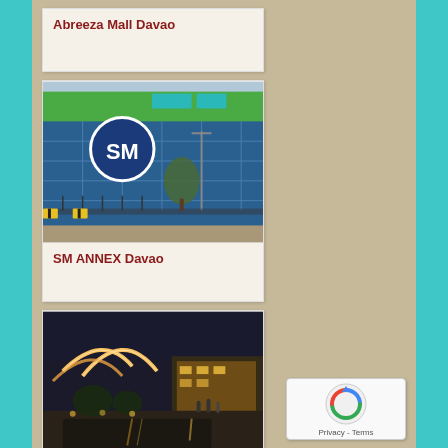Abreeza Mall Davao
[Figure (photo): SM building exterior with blue facade and SM logo, green accent, street view with trees and lamp posts]
SM ANNEX Davao
[Figure (photo): Night scene of a modern mall or outdoor area with illuminated curved structures and warm lighting reflecting on water]